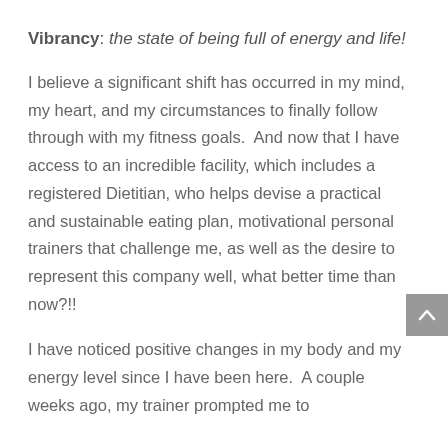Vibrancy: the state of being full of energy and life!
I believe a significant shift has occurred in my mind, my heart, and my circumstances to finally follow through with my fitness goals.  And now that I have access to an incredible facility, which includes a registered Dietitian, who helps devise a practical and sustainable eating plan, motivational personal trainers that challenge me, as well as the desire to represent this company well, what better time than now?!!
I have noticed positive changes in my body and my energy level since I have been here.  A couple weeks ago, my trainer prompted me to